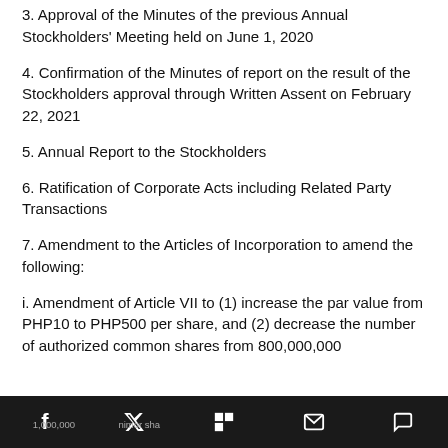3. Approval of the Minutes of the previous Annual Stockholders' Meeting held on June 1, 2020
4. Confirmation of the Minutes of report on the result of the Stockholders approval through Written Assent on February 22, 2021
5. Annual Report to the Stockholders
6. Ratification of Corporate Acts including Related Party Transactions
7. Amendment to the Articles of Incorporation to amend the following:
i. Amendment of Article VII to (1) increase the par value from PHP10 to PHP500 per share, and (2) decrease the number of authorized common shares from 800,000,000 to 16,000,000 common shares
f  [Twitter]  [Flipboard]  [Email]  [Comment]